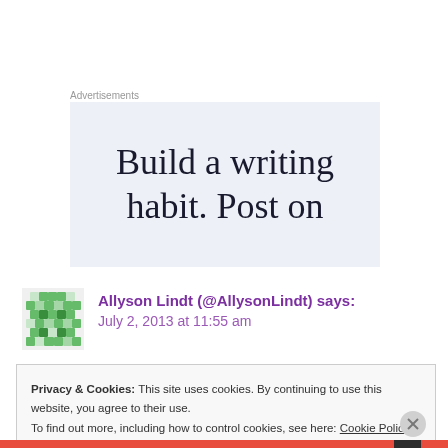Advertisements
[Figure (other): Advertisement banner with text 'Build a writing habit. Post on' on a light blue-grey background]
Allyson Lindt (@AllysonLindt) says: July 2, 2013 at 11:55 am
Privacy & Cookies: This site uses cookies. By continuing to use this website, you agree to their use. To find out more, including how to control cookies, see here: Cookie Policy
Close and accept